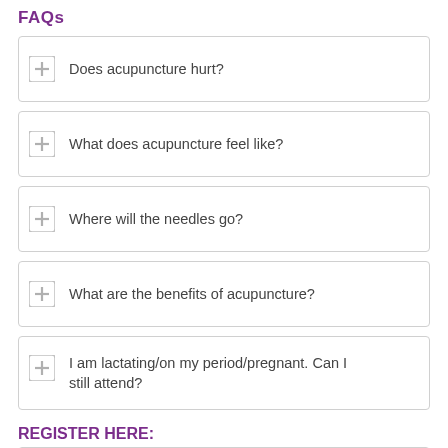FAQs
Does acupuncture hurt?
What does acupuncture feel like?
Where will the needles go?
What are the benefits of acupuncture?
I am lactating/on my period/pregnant. Can I still attend?
REGISTER HERE: